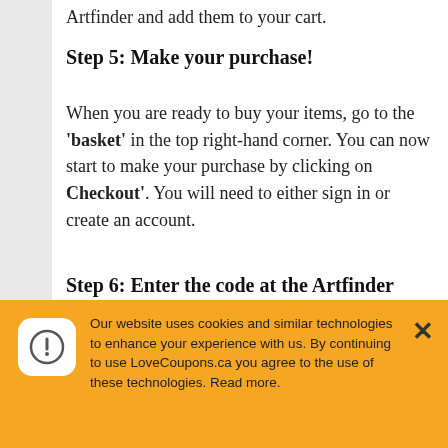Artfinder and add them to your cart.
Step 5: Make your purchase!
When you are ready to buy your items, go to the ‘basket’ in the top right-hand corner. You can now start to make your purchase by clicking on Checkout’. You will need to either sign in or create an account.
Step 6: Enter the code at the Artfinder checkout
Now that you have the code copied, simply paste it into the “Promotional or Gift card code” label at the checkout and click the “Apply Code”. Check out the image provided
Our website uses cookies and similar technologies to enhance your experience with us. By continuing to use LoveCoupons.ca you agree to the use of these technologies. Read more.